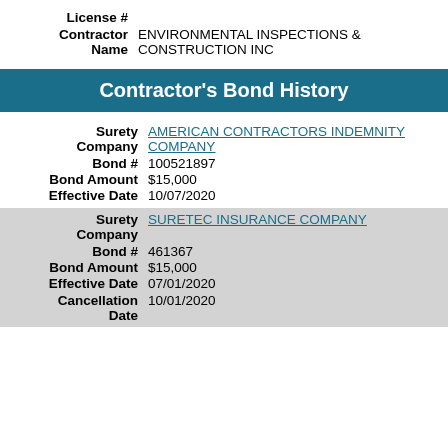License #
Contractor Name: ENVIRONMENTAL INSPECTIONS & CONSTRUCTION INC
Contractor's Bond History
| Field | Value |
| --- | --- |
| Surety Company | AMERICAN CONTRACTORS INDEMNITY COMPANY |
| Bond # | 100521897 |
| Bond Amount | $15,000 |
| Effective Date | 10/07/2020 |
| Field | Value |
| --- | --- |
| Surety Company | SURETEC INSURANCE COMPANY |
| Bond # | 461367 |
| Bond Amount | $15,000 |
| Effective Date | 07/01/2020 |
| Cancellation Date | 10/01/2020 |